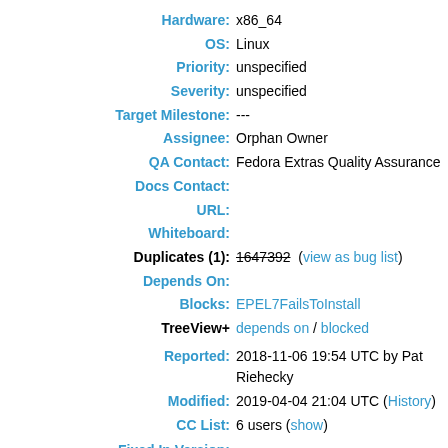Hardware: x86_64
OS: Linux
Priority: unspecified
Severity: unspecified
Target Milestone: ---
Assignee: Orphan Owner
QA Contact: Fedora Extras Quality Assurance
Docs Contact:
URL:
Whiteboard:
Duplicates (1): 1647392 (view as bug list)
Depends On:
Blocks: EPEL7FailsToInstall
TreeView+ depends on / blocked
Reported: 2018-11-06 19:54 UTC by Pat Riehecky
Modified: 2019-04-04 21:04 UTC (History)
CC List: 6 users (show)
Fixed In Version:
Doc Type: □ If docs needed, set a value